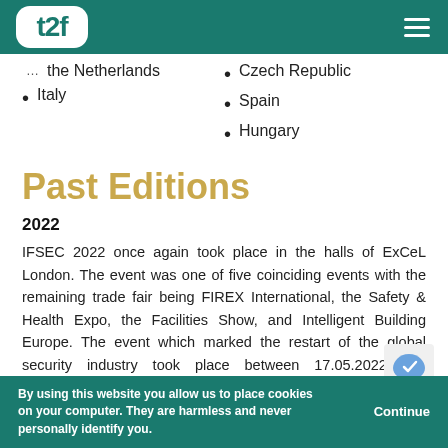t2f logo and navigation header
...the Netherlands
Italy
Czech Republic
Spain
Hungary
Past Editions
2022
IFSEC 2022 once again took place in the halls of ExCeL London. The event was one of five coinciding events with the remaining trade fair being FIREX International, the Safety & Health Expo, the Facilities Show, and Intelligent Building Europe. The event which marked the restart of the global security industry took place between 17.05.2022 and 19.05.2022. The edition received over 20,000 trade visitors, more than 60 speakers, and over 600 exhibitors from around 43 countries.
By using this website you allow us to place cookies on your computer. They are harmless and never personally identify you. Continue